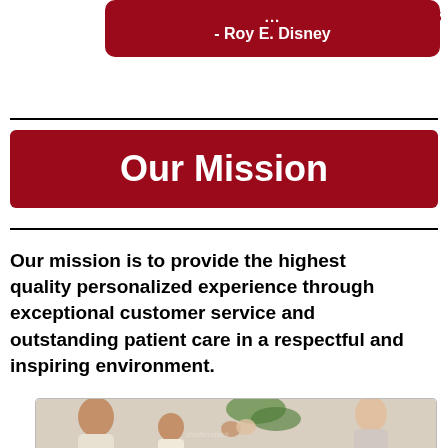- Roy E. Disney
Our Mission
Our mission is to provide the highest quality personalized experience through exceptional customer service and outstanding patient care in a respectful and inspiring environment.
[Figure (photo): Photo of a healthcare professional giving a high-five to a child, with a man and a plant in the background]